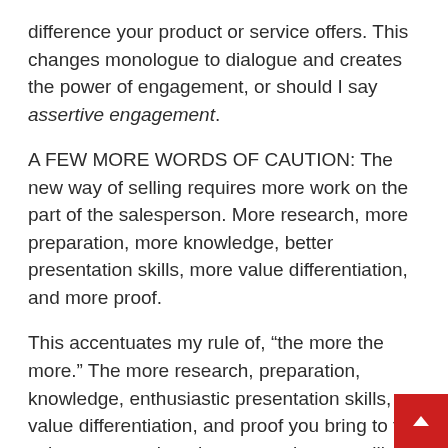difference your product or service offers. This changes monologue to dialogue and creates the power of engagement, or should I say assertive engagement.
A FEW MORE WORDS OF CAUTION: The new way of selling requires more work on the part of the salesperson. More research, more preparation, more knowledge, better presentation skills, more value differentiation, and more proof.
This accentuates my rule of, “the more the more.” The more research, preparation, knowledge, enthusiastic presentation skills, value differentiation, and proof you bring to the sales presentation, the more sales you will make.